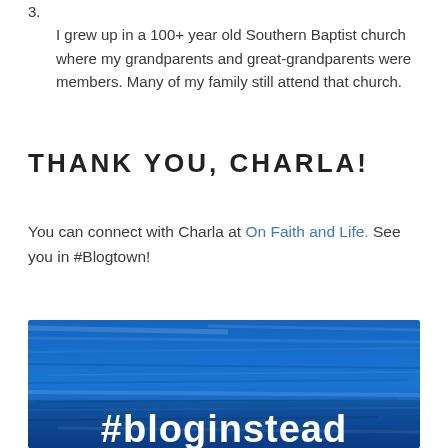3. I grew up in a 100+ year old Southern Baptist church where my grandparents and great-grandparents were members. Many of my family still attend that church.
THANK YOU, CHARLA!
You can connect with Charla at On Faith and Life. See you in #Blogtown!
[Figure (photo): Blue painted wood texture background with white bold text '#bloginstead' in the lower portion]